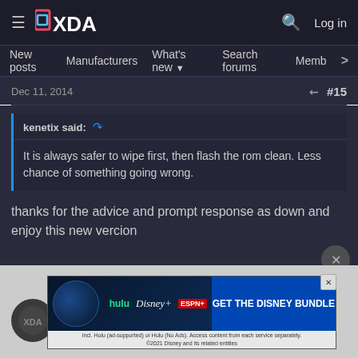XDA Forums - navigation bar with New posts, Manufacturers, What's new, Search forums, Members
Dec 11, 2014  #15
kenetix said: It is always safer to wipe first, then flash the rom clean. Less chance of something going wrong.
thanks for the advice and prompt response as down and enjoy this new vercion
[Figure (other): Disney Bundle advertisement: Hulu, Disney+, ESPN+ - GET THE DISNEY BUNDLE. Incl. Hulu (ad-supported) or Hulu (No Ads). Access content from each service separately. ©2021 Disney and its related entities]